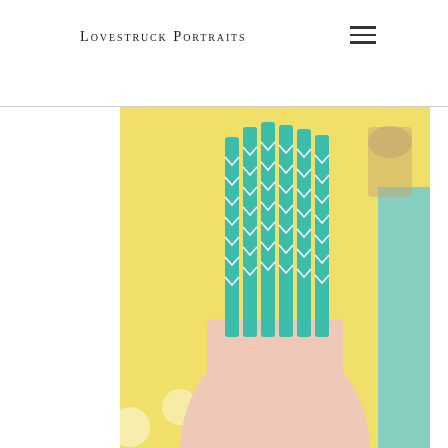Lovestruck Portraits
[Figure (photo): Close-up photo of teal and white chevron-striped paper straws in a pink glass jar, with yellow polka dot background and teal element on right side]
[Figure (photo): Photo of a party table setup with teal gift boxes and small white cups/bowls, with a person's hand visible using a tool]